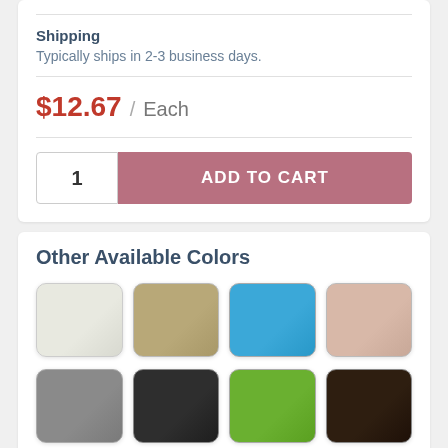Shipping
Typically ships in 2-3 business days.
$12.67 / Each
1  ADD TO CART
Other Available Colors
[Figure (illustration): Color swatches for available product colors: ivory/white, tan/khaki, blue, blush/pink, gray, charcoal/black, green, dark brown]